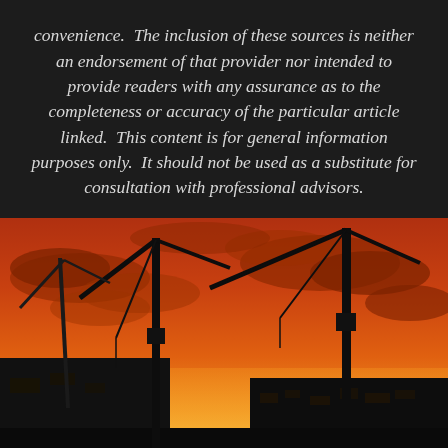convenience.  The inclusion of these sources is neither an endorsement of that provider nor intended to provide readers with any assurance as to the completeness or accuracy of the particular article linked.  This content is for general information purposes only.  It should not be used as a substitute for consultation with professional advisors.
[Figure (photo): Construction site at sunset/dusk showing silhouettes of two large cranes against an orange and red sky with dramatic clouds. Buildings under construction visible in the background, also silhouetted.]